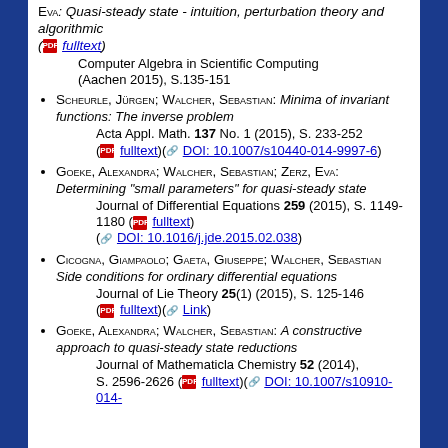Eva: Quasi-steady state - intuition, perturbation theory and algorithmic (fulltext)
Computer Algebra in Scientific Computing (Aachen 2015), S.135-151
Scheurle, Jürgen; Walcher, Sebastian: Minima of invariant functions: The inverse problem Acta Appl. Math. 137 No. 1 (2015), S. 233-252 (fulltext)(DOI: 10.1007/s10440-014-9997-6)
Goeke, Alexandra; Walcher, Sebastian; Zerz, Eva: Determining "small parameters" for quasi-steady state Journal of Differential Equations 259 (2015), S. 1149-1180 (fulltext)(DOI: 10.1016/j.jde.2015.02.038)
Cicogna, Giampaolo; Gaeta, Giuseppe; Walcher, Sebastian Side conditions for ordinary differential equations Journal of Lie Theory 25(1) (2015), S. 125-146 (fulltext)(Link)
Goeke, Alexandra; Walcher, Sebastian: A constructive approach to quasi-steady state reductions Journal of Mathematicla Chemistry 52 (2014), S. 2596-2626 (fulltext)(DOI: 10.1007/s10910-014-...